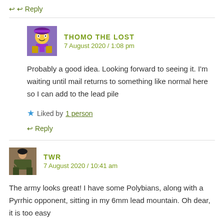↩ Reply
THOMO THE LOST
7 August 2020 / 1:08 pm
Probably a good idea. Looking forward to seeing it. I'm waiting until mail returns to something like normal here so I can add to the lead pile
★ Liked by 1 person
↩ Reply
TWR
7 August 2020 / 10:41 am
The army looks great! I have some Polybians, along with a Pyrrhic opponent, sitting in my 6mm lead mountain. Oh dear, it is too easy